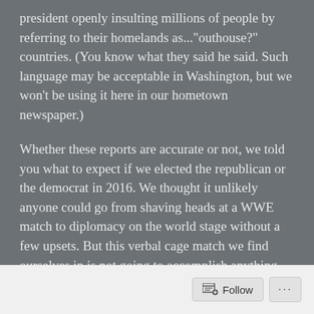president openly insulting millions of people by referring to their homelands as..."outhouse?" countries. (You know what they said he said. Such language may be acceptable in Washington, but we won't be using it here in our hometown newspaper.)
Whether these reports are accurate or not, we told you what to expect if we elected the republican or the democrat in 2016. We thought it unlikely anyone could go from shaving heads at a WWE match to diplomacy on the world stage without a few upsets. But this verbal cage match we find ourselves in is not going to accomplish anything, and it's interfering with the work that needs doing.
Follow ...